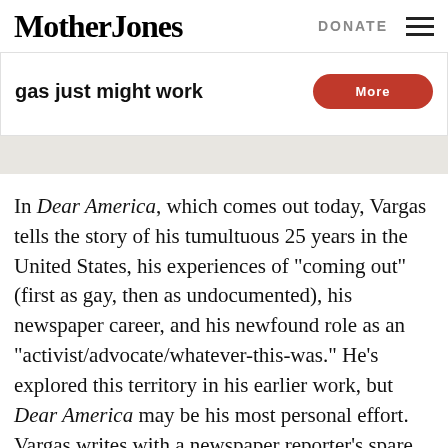Mother Jones | DONATE
gas just might work
In Dear America, which comes out today, Vargas tells the story of his tumultuous 25 years in the United States, his experiences of "coming out" (first as gay, then as undocumented), his newspaper career, and his newfound role as an "activist/advocate/whatever-this-was." He's explored this territory in his earlier work, but Dear America may be his most personal effort. Vargas writes with a newspaper reporter's spare, forceful prose, but he's searching and highly introspective